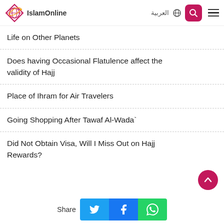IslamOnline | العربية
Life on Other Planets
Does having Occasional Flatulence affect the validity of Hajj
Place of Ihram for Air Travelers
Going Shopping After Tawaf Al-Wada`
Did Not Obtain Visa, Will I Miss Out on Hajj Rewards?
Share